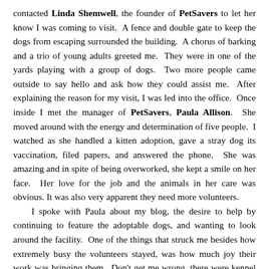contacted Linda Shemwell, the founder of PetSavers to let her know I was coming to visit. A fence and double gate to keep the dogs from escaping surrounded the building. A chorus of barking and a trio of young adults greeted me. They were in one of the yards playing with a group of dogs. Two more people came outside to say hello and ask how they could assist me. After explaining the reason for my visit, I was led into the office. Once inside I met the manager of PetSavers, Paula Allison. She moved around with the energy and determination of five people. I watched as she handled a kitten adoption, gave a stray dog its vaccination, filed papers, and answered the phone. She was amazing and in spite of being overworked, she kept a smile on her face. Her love for the job and the animals in her care was obvious. It was also very apparent they need more volunteers.
	I spoke with Paula about my blog, the desire to help by continuing to feature the adoptable dogs, and wanting to look around the facility. One of the things that struck me besides how extremely busy the volunteers stayed, was how much joy their work was bringing them. Don't get me wrong, there were kennel runs being cleaned, dogs being fed, litter boxes being changed, blankets washed, all in addition to greeting potential adopting families. The entire facility is in constant motion. I was in awe of